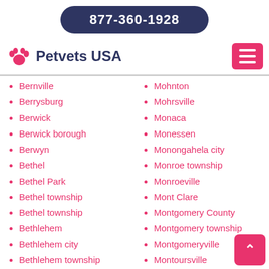877-360-1928
Petvets USA
Bernville
Berrysburg
Berwick
Berwick borough
Berwyn
Bethel
Bethel Park
Bethel township
Bethel township
Bethlehem
Bethlehem city
Bethlehem township
Big Run
Mohnton
Mohrsville
Monaca
Monessen
Monongahela city
Monroe township
Monroeville
Mont Clare
Montgomery County
Montgomery township
Montgomeryville
Montoursville
Montrose